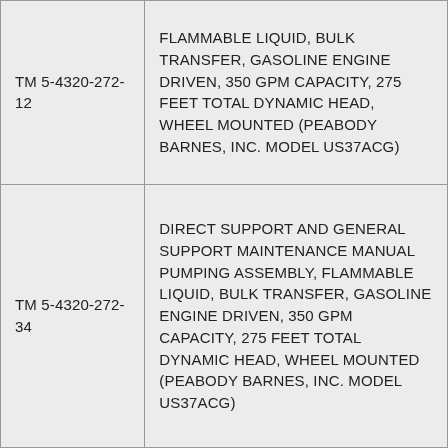| TM 5-4320-272-12 | FLAMMABLE LIQUID, BULK TRANSFER, GASOLINE ENGINE DRIVEN, 350 GPM CAPACITY, 275 FEET TOTAL DYNAMIC HEAD, WHEEL MOUNTED (PEABODY BARNES, INC. MODEL US37ACG) |
| TM 5-4320-272-34 | DIRECT SUPPORT AND GENERAL SUPPORT MAINTENANCE MANUAL PUMPING ASSEMBLY, FLAMMABLE LIQUID, BULK TRANSFER, GASOLINE ENGINE DRIVEN, 350 GPM CAPACITY, 275 FEET TOTAL DYNAMIC HEAD, WHEEL MOUNTED (PEABODY BARNES, INC. MODEL US37ACG) |